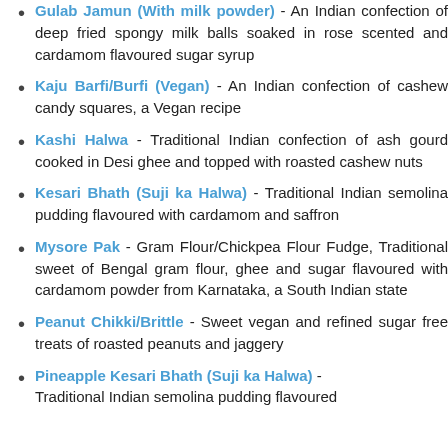Gulab Jamun (With milk powder) - An Indian confection of deep fried spongy milk balls soaked in rose scented and cardamom flavoured sugar syrup
Kaju Barfi/Burfi (Vegan) - An Indian confection of cashew candy squares, a Vegan recipe
Kashi Halwa - Traditional Indian confection of ash gourd cooked in Desi ghee and topped with roasted cashew nuts
Kesari Bhath (Suji ka Halwa) - Traditional Indian semolina pudding flavoured with cardamom and saffron
Mysore Pak - Gram Flour/Chickpea Flour Fudge, Traditional sweet of Bengal gram flour, ghee and sugar flavoured with cardamom powder from Karnataka, a South Indian state
Peanut Chikki/Brittle - Sweet vegan and refined sugar free treats of roasted peanuts and jaggery
Pineapple Kesari Bhath (Suji ka Halwa) - Traditional Indian semolina pudding flavoured with...